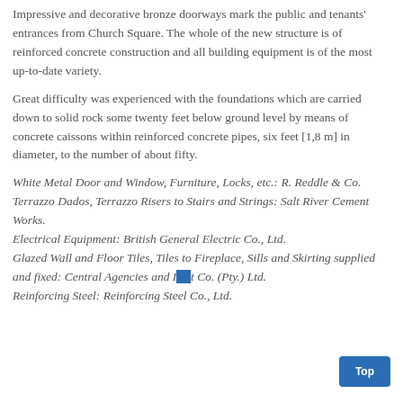Impressive and decorative bronze doorways mark the public and tenants' entrances from Church Square. The whole of the new structure is of reinforced concrete construction and all building equipment is of the most up-to-date variety.
Great difficulty was experienced with the foundations which are carried down to solid rock some twenty feet below ground level by means of concrete caissons within reinforced concrete pipes, six feet [1,8 m] in diameter, to the number of about fifty.
White Metal Door and Window, Furniture, Locks, etc.: R. Reddle & Co. Terrazzo Dados, Terrazzo Risers to Stairs and Strings: Salt River Cement Works. Electrical Equipment: British General Electric Co., Ltd. Glazed Wall and Floor Tiles, Tiles to Fireplace, Sills and Skirting supplied and fixed: Central Agencies and I...t Co. (Pty.) Ltd. Reinforcing Steel: Reinforcing Steel Co., Ltd.